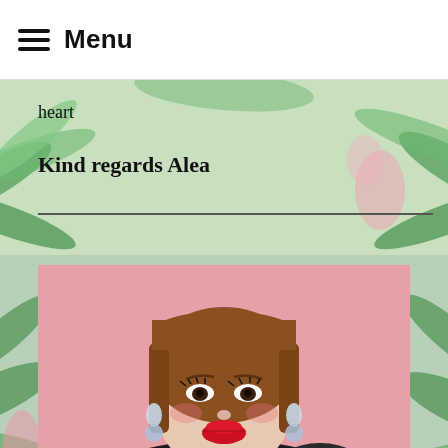Menu
heart
Kind regards Alea
[Figure (photo): Portrait photo of a person with a bob haircut wearing makeup, crystal drop earrings, a red necklace with rhinestones, a red dress, and a black fur stole tied with a bow, posed against a pink background with tropical plant elements.]